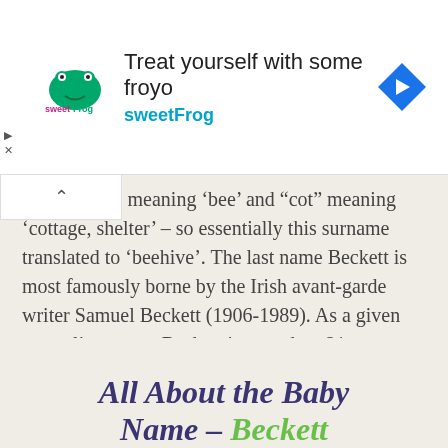[Figure (screenshot): Advertisement banner for sweetFrog frozen yogurt with logo, headline 'Treat yourself with some froyo', brand name 'sweetFrog' in teal, and a blue diamond navigation arrow icon]
nglish “beo” meaning ‘bee’ and “cot” meaning ‘cottage, shelter’ – so essentially this surname translated to ‘beehive’. The last name Beckett is most famously borne by the Irish avant-garde writer Samuel Beckett (1906-1989). As a given masculine name, Beckett is a modern 21st century coinage and distinct to the United States.
All About the Baby Name – Beckett